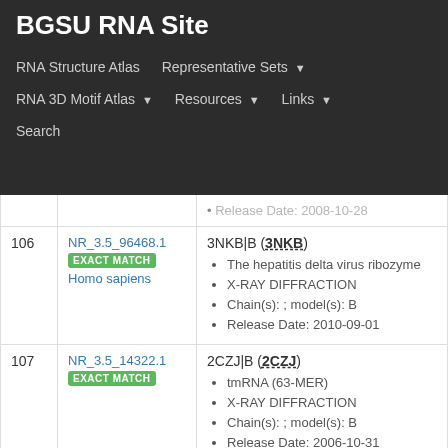BGSU RNA Site — navigation bar with: RNA Structure Atlas, Representative Sets, RNA 3D Motif Atlas, Resources, Links, Search
| # | ID | Details |
| --- | --- | --- |
| 106 | NR_3.5_96468.1 EXACT MATCH Homo sapiens | 3NKB|B (3NKB) • The hepatitis delta virus ribozyme • X-RAY DIFFRACTION • Chain(s): ; model(s): B • Release Date: 2010-09-01 |
| 107 | NR_3.5_14322.1 EXACT MATCH | 2CZJ|B (2CZJ) • tmRNA (63-MER) • X-RAY DIFFRACTION • Chain(s): ; model(s): B • Release Date: 2006-10-31 |
| 108 | NR_3.5_77448.1 | 3HAX|E (3HAX) |